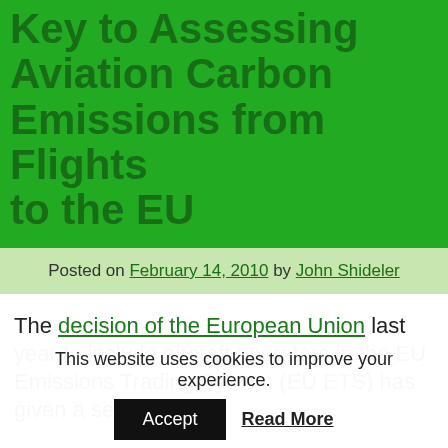Key to Assessing Aviation Carbon Emissions from Flights to the EU
Posted on February 14, 2010 by John Shideler
The decision of the European Union last year to include aircraft operators in the EU Emissions Trading System (EU ETS) has given a sense of
This website uses cookies to improve your experience.
Accept   Read More